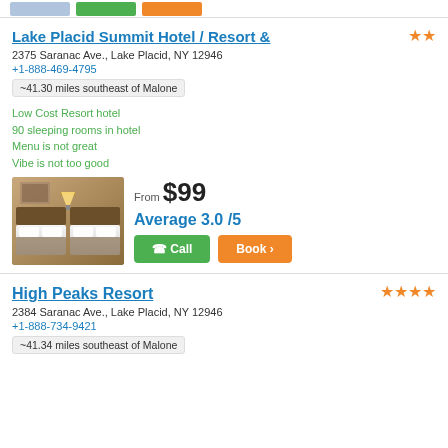[Figure (photo): Top navigation bar with hotel image thumbnail and two buttons (green and orange)]
Lake Placid Summit Hotel / Resort &
2375 Saranac Ave., Lake Placid, NY 12946
+1-888-469-4795
~41.30 miles southeast of Malone
Low Cost Resort hotel
90 sleeping rooms in hotel
Menu is not great
Vibe is not too good
[Figure (photo): Hotel room photo showing two beds with white linens and a lamp]
From $99
Average 3.0 /5
High Peaks Resort
2384 Saranac Ave., Lake Placid, NY 12946
+1-888-734-9421
~41.34 miles southeast of Malone